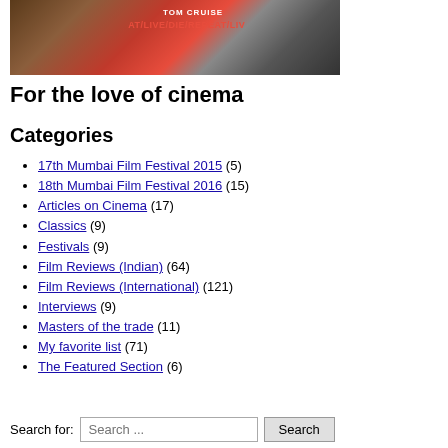[Figure (photo): Movie poster collage showing Tom Cruise film 'Edge of Tomorrow' (AT/LIVE/DIE/REPEAT/LIVE) alongside a classic black and white film still]
For the love of cinema
Categories
17th Mumbai Film Festival 2015 (5)
18th Mumbai Film Festival 2016 (15)
Articles on Cinema (17)
Classics (9)
Festivals (9)
Film Reviews (Indian) (64)
Film Reviews (International) (121)
Interviews (9)
Masters of the trade (11)
My favorite list (71)
The Featured Section (6)
Search for: Search ...  Search